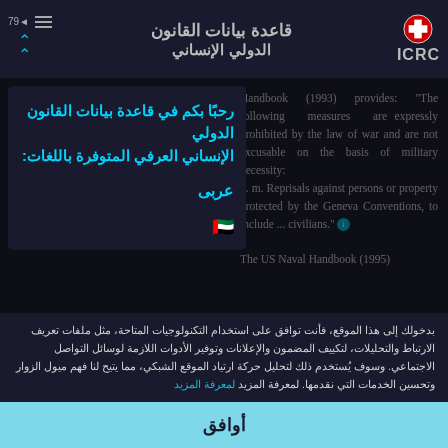قاعدة بيانات القانون الدولي الإنساني العرفي — ICRC
Handbook (1993) provides: "The following measures are expressly prohibited by the law of war and are not excusable on the basis of military necessity: ... m. Reprisals against persons or property protected by the Geneva Conventions, to include ... civilians."
The US Naval Handbook (1995)
رحبًا بكم في قاعدة بيانات القانون الدولي الإنساني العرفي المتوفرة باللغات:
عربى
بدخولك إلى هذا الموقع، فأنت توافق على استخدام التكنولوجيات المتاحة، مثل ملفات تعريف الارتباط والتحليلات، لتكييف المضمون والإعلانات وتوفير الأدوات اللازمة لوسائل التواصل الاجتماعي. وسوف يُستخدم ذلك لتحليل حركة ارتياد الموقع الشبكي، مما يتيح لنا فهم ميول الزوار وتحسين الخدمات التي نقدمها. لمعرفة المزيد لمعرفة المزيد
أوافق